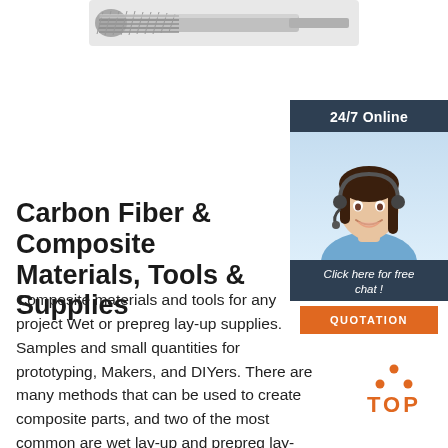[Figure (photo): Closeup of a carbide rotary cutting tool / drill bit end mill with metallic grey color, centered at top of page]
[Figure (infographic): 24/7 Online chat widget with dark navy background showing a female customer service agent wearing a headset, with 'Click here for free chat!' text and an orange QUOTATION button]
Carbon Fiber & Composite Materials, Tools & Supplies
Composite materials and tools for any project Wet or prepreg lay-up supplies. Samples and small quantities for prototyping, Makers, and DIYers. There are many methods that can be used to create composite parts, and two of the most common are wet lay-up and prepreg lay-up. We supply all the materials generally required, including offering ...
[Figure (logo): Orange 'TOP' badge with orange dot triangle pattern above the text]